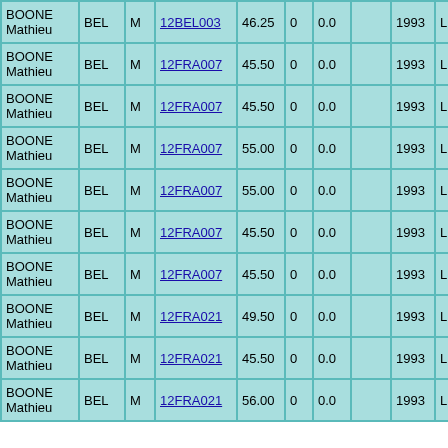| BOONE Mathieu | BEL | M | 12BEL003 | 46.25 | 0 | 0.0 |  | 1993 | L | 2... |
| BOONE Mathieu | BEL | M | 12FRA007 | 45.50 | 0 | 0.0 |  | 1993 | L | 1... |
| BOONE Mathieu | BEL | M | 12FRA007 | 45.50 | 0 | 0.0 |  | 1993 | L | 1... |
| BOONE Mathieu | BEL | M | 12FRA007 | 55.00 | 0 | 0.0 |  | 1993 | L | 2... |
| BOONE Mathieu | BEL | M | 12FRA007 | 55.00 | 0 | 0.0 |  | 1993 | L | 2... |
| BOONE Mathieu | BEL | M | 12FRA007 | 45.50 | 0 | 0.0 |  | 1993 | L | 3... |
| BOONE Mathieu | BEL | M | 12FRA007 | 45.50 | 0 | 0.0 |  | 1993 | L | 3... |
| BOONE Mathieu | BEL | M | 12FRA021 | 49.50 | 0 | 0.0 |  | 1993 | L | 1... |
| BOONE Mathieu | BEL | M | 12FRA021 | 45.50 | 0 | 0.0 |  | 1993 | L | 2... |
| BOONE Mathieu | BEL | M | 12FRA021 | 56.00 | 0 | 0.0 |  | 1993 | L | 3... |